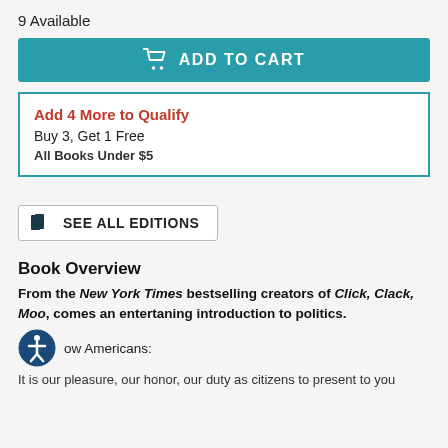9 Available
ADD TO CART
Add 4 More to Qualify
Buy 3, Get 1 Free
All Books Under $5
SEE ALL EDITIONS
Book Overview
From the New York Times bestselling creators of Click, Clack, Moo, comes an entertaning introduction to politics.
ow Americans:
It is our pleasure, our honor, our duty as citizens to present to you